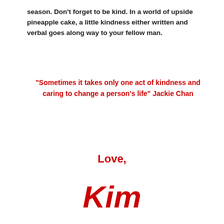season.  Don't forget to be kind.  In a world of upside pineapple cake, a little kindness either written and verbal goes along way to your fellow man.
"Sometimes it takes only one act of kindness and caring to change a person's life" Jackie Chan
Love,
Kim